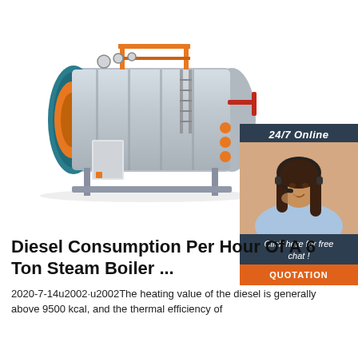[Figure (photo): Industrial steam boiler with orange front panel, teal cylindrical body, metalwork frame, control box on side, and orange pipe framework on top. White background product photo.]
[Figure (infographic): Advertisement overlay: dark navy background with '24/7 Online' header text, photo of smiling woman with headset, 'Click here for free chat!' text, and orange 'QUOTATION' button.]
Diesel Consumption Per Hour Of A 6 Ton Steam Boiler ...
2020-7-14u2002·u2002The heating value of the diesel is generally above 9500 kcal, and the thermal efficiency of